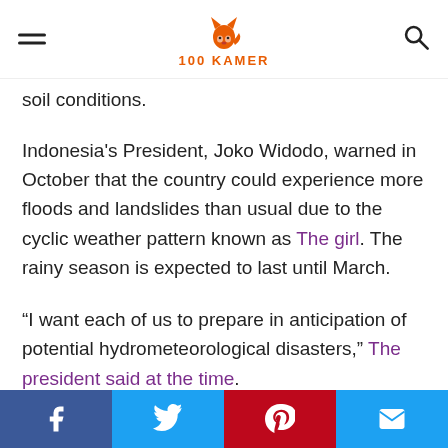100 KAMER
soil conditions.
Indonesia's President, Joko Widodo, warned in October that the country could experience more floods and landslides than usual due to the cyclic weather pattern known as The girl. The rainy season is expected to last until March.
“I want each of us to prepare in anticipation of potential hydrometeorological disasters,” The president said at the time.
By midday Sunday, a local disaster official said
Facebook Twitter Pinterest Email